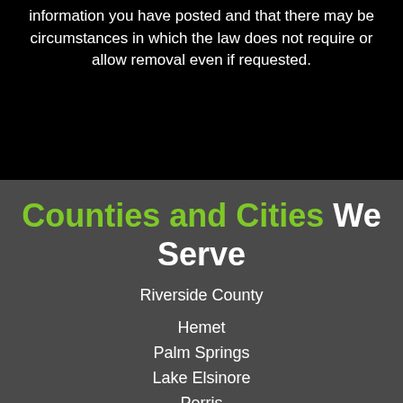information you have posted and that there may be circumstances in which the law does not require or allow removal even if requested.
Counties and Cities We Serve
Riverside County
Hemet
Palm Springs
Lake Elsinore
Perris